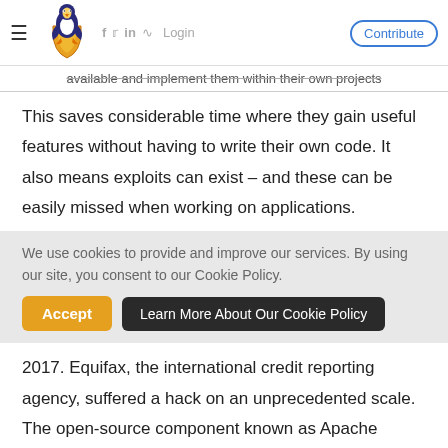≡ [Logo: Linux security penguin] f  in  ℞  Login  Contribute
available and implement them within their own projects
This saves considerable time where they gain useful features without having to write their own code. It also means exploits can exist – and these can be easily missed when working on applications.
We use cookies to provide and improve our services. By using our site, you consent to our Cookie Policy.
2017. Equifax, the international credit reporting agency, suffered a hack on an unprecedented scale. The open-source component known as Apache Struts2